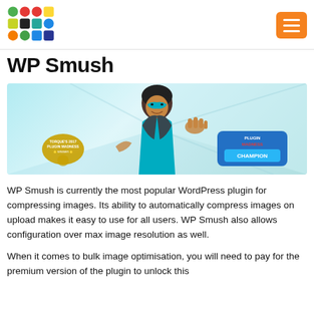[Figure (logo): Colorful SD/grid logo in top left]
WP Smush
[Figure (illustration): WP Smush banner illustration with a superhero woman wearing a teal mask and outfit, with Plugin Madness Champion and Torque's 2017 Plugin Madness awards badges on a light blue background]
WP Smush is currently the most popular WordPress plugin for compressing images. Its ability to automatically compress images on upload makes it easy to use for all users. WP Smush also allows configuration over max image resolution as well.
When it comes to bulk image optimisation, you will need to pay for the premium version of the plugin to unlock this